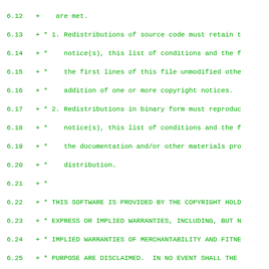Diff/patch code view showing lines 6.12 through 6.44 of source file with green monospace font. Lines show copyright license text (BSD-style) with + markers indicating additions.